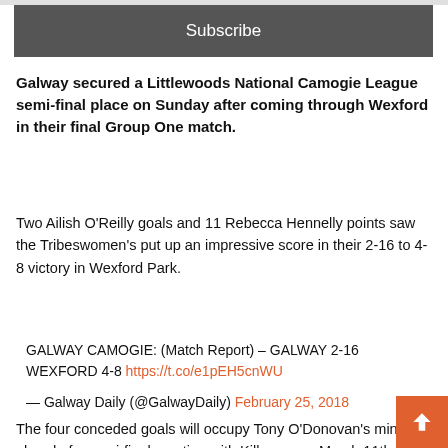Subscribe
Galway secured a Littlewoods National Camogie League semi-final place on Sunday after coming through Wexford in their final Group One match.
Two Ailish O'Reilly goals and 11 Rebecca Hennelly points saw the Tribeswomen's put up an impressive score in their 2-16 to 4-8 victory in Wexford Park.
GALWAY CAMOGIE: (Match Report) – GALWAY 2-16 WEXFORD 4-8 https://t.co/e1pEH5cnWU
— Galway Daily (@GalwayDaily) February 25, 2018
The four conceded goals will occupy Tony O'Donovan's mind ahead of a semi-final meeting with Kilkenny on March 11th